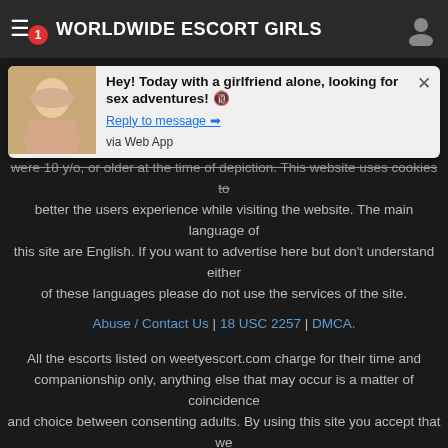WORLDWIDE ESCORT GIRLS
[Figure (screenshot): Browser push notification popup showing a message: 'Hey! Today with a girlfriend alone, looking for sex adventures! Reply to message → via Web App']
were 18 y/o, or older at the time of depiction. This website uses cookies to better the users experience while visiting the website. The main language of this site are English. If you want to advertise here but don't understand either of these languages please do not use the services of the site.
Abuse / Contact Us | 18 USC 2257 | DMCA.
All the escorts listed on weetyescort.com charge for their time and companionship only, anything else that may occur is a matter of coincidence and choice between consenting adults. By using this site you accept that we (The Site) do not support or advertise business based sexual activities in any forms therefore you (The Advertiser) hereby declare that you offer your time and companionship only in your advertisement(s). You also accept that we do not support any forms of sexual activited based business partnerships therefore every advertiser on this site must be an independent individual.